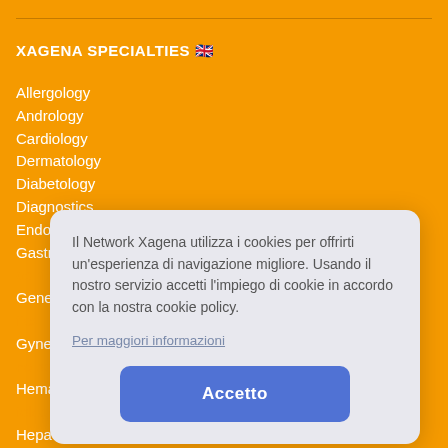XAGENA SPECIALTIES 🇬🇧
Allergology
Andrology
Cardiology
Dermatology
Diabetology
Diagnostics
Endocrinology
Gastro...
Gene...
Gyne...
Hema...
Hepa...
Infec...
Meta...
Neph...
Neur...
Onco...
Ophtl...
Pedia...
Pharmacology
Il Network Xagena utilizza i cookies per offrirti un'esperienza di navigazione migliore. Usando il nostro servizio accetti l'impiego di cookie in accordo con la nostra cookie policy.
Per maggiori informazioni
Accetto